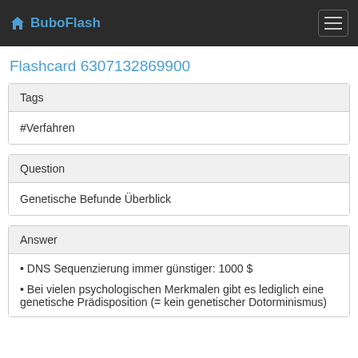BuboFlash
Flashcard 6307132869900
Tags
#Verfahren
Question
Genetische Befunde Überblick
Answer
DNS Sequenzierung immer günstiger: 1000 $
Bei vielen psychologischen Merkmalen gibt es lediglich eine genetische Prädisposition (= kein genetischer Determinismus)